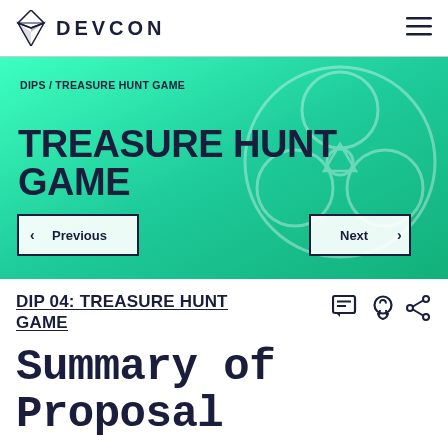DEVCON
[Figure (illustration): Hero banner with teal/green gradient background featuring a biohazard symbol outline in lighter teal. Contains breadcrumb 'DIPS / TREASURE HUNT GAME', large bold title 'TREASURE HUNT GAME', and Previous/Next navigation buttons.]
DIP 04: TREASURE HUNT GAME
Summary of Proposal